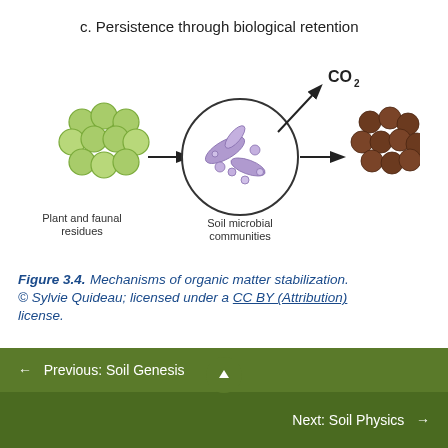c. Persistence through biological retention
[Figure (schematic): Diagram showing biological retention mechanism: green plant/faunal residues on the left with an arrow pointing to a circle containing soil microbial communities (purple shapes and small circles), then an arrow pointing up-right to CO2 label, and an arrow pointing right to dark brown aggregates (mineral-associated organic matter).]
Figure 3.4. Mechanisms of organic matter stabilization. © Sylvie Quideau; licensed under a CC BY (Attribution) license.
In addition to the interactions of organic matter with mineral surfaces, physical protection inside